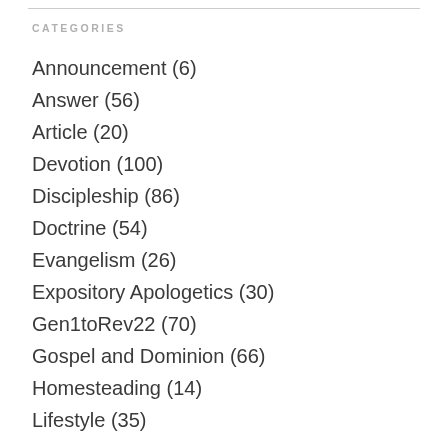CATEGORIES
Announcement (6)
Answer (56)
Article (20)
Devotion (100)
Discipleship (86)
Doctrine (54)
Evangelism (26)
Expository Apologetics (30)
Gen1toRev22 (70)
Gospel and Dominion (66)
Homesteading (14)
Lifestyle (35)